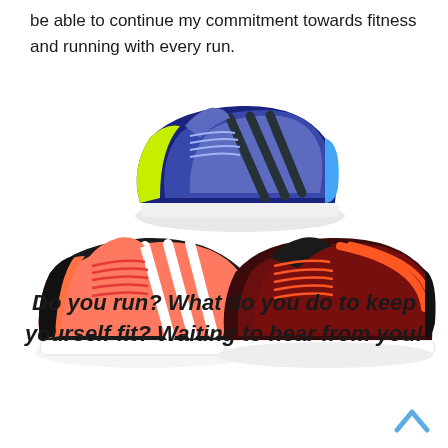be able to continue my commitment towards fitness and running with every run.
[Figure (photo): Three Adidas running shoes: one blue/navy with yellow-green sole (top center), one pink/black with white stripes (bottom left), one dark red/black with orange accents (bottom right)]
Do you run?  What do you do to keep yourself fit?  Waiting to hear from you!